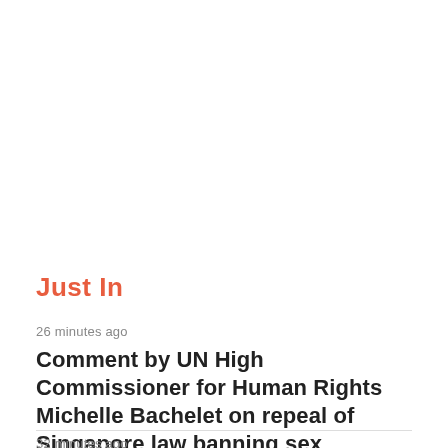Just In
26 minutes ago
Comment by UN High Commissioner for Human Rights Michelle Bachelet on repeal of Singapore law banning sex between men
32 minutes ago